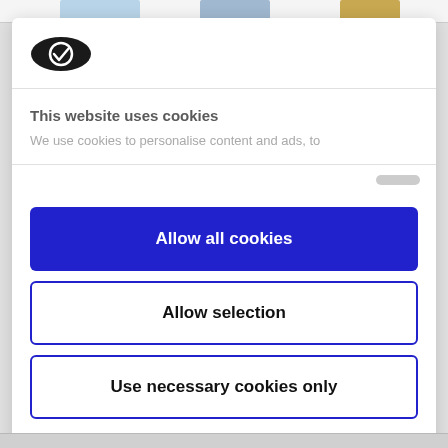[Figure (logo): Cookiebot logo - black oval badge with white checkmark cookie icon]
This website uses cookies
We use cookies to personalise content and ads, to
Allow all cookies
Allow selection
Use necessary cookies only
Powered by Cookiebot by Usercentrics